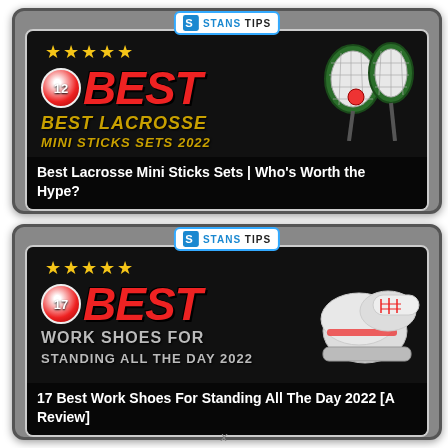[Figure (screenshot): Article card for 'Best Lacrosse Mini Sticks Sets | Who's Worth the Hype?' featuring a dark banner with 5 gold stars, a red circle with '12', bold red 'BEST' text, gold italic 'BEST LACROSSE' subtitle, lacrosse stick imagery, and a Stans Tips badge.]
[Figure (screenshot): Article card for '17 Best Work Shoes For Standing All The Day 2022 [A Review]' featuring a dark banner with 5 gold stars, a red circle with '17', bold red 'BEST' text, gray 'WORK SHOES FOR' subtitle, sneaker imagery, and a Stans Tips badge.]
Best Lacrosse Mini Sticks Sets | Who's Worth the Hype?
17 Best Work Shoes For Standing All The Day 2022 [A Review]